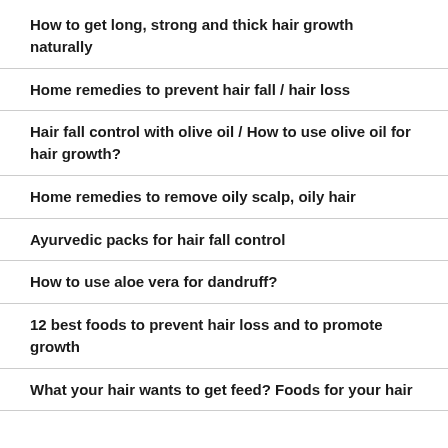How to get long, strong and thick hair growth naturally
Home remedies to prevent hair fall / hair loss
Hair fall control with olive oil / How to use olive oil for hair growth?
Home remedies to remove oily scalp, oily hair
Ayurvedic packs for hair fall control
How to use aloe vera for dandruff?
12 best foods to prevent hair loss and to promote growth
What your hair wants to get feed? Foods for your hair